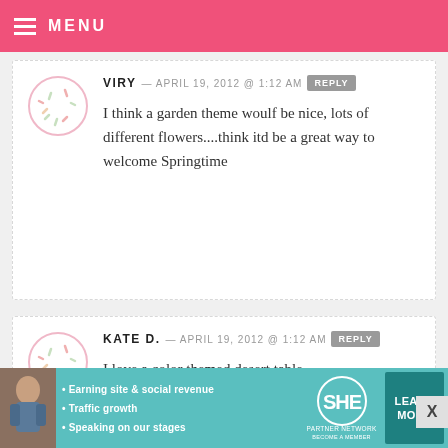MENU
VIRY — APRIL 19, 2012 @ 1:12 AM [REPLY]
I think a garden theme woulf be nice, lots of different flowers....think itd be a great way to welcome Springtime
KATE D. — APRIL 19, 2012 @ 1:12 AM [REPLY]
I love a color themed desert table.
MB — APRIL 19, 2012 @ 1:11 AM [REPLY]
[Figure (infographic): SHE Partner Network advertisement banner with photo of woman, bullet points about earning site & social revenue, traffic growth, speaking on our stages, SHE logo, and Learn More button]